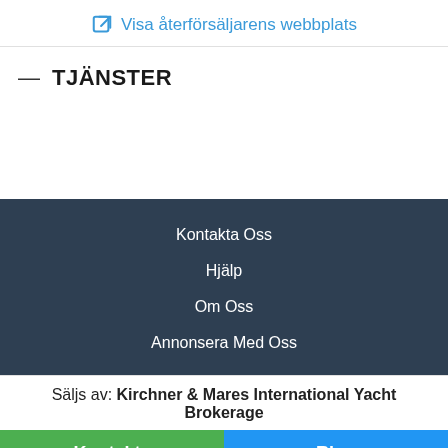Visa återförsäljarens webbplats
— TJÄNSTER
Kontakta Oss
Hjälp
Om Oss
Annonsera Med Oss
Säljs av: Kirchner & Mares International Yacht Brokerage
Kontakta
Ring